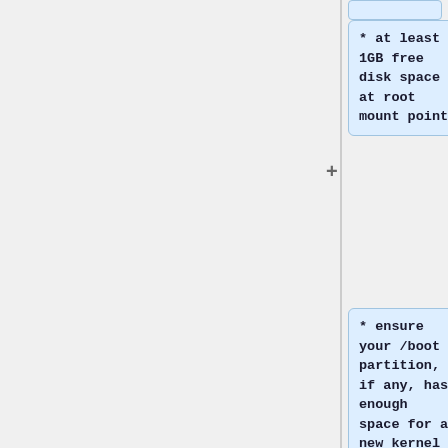* at least 1GB free disk space at root mount point
* ensure your /boot partition, if any, has enough space for a new kernel (min 60MB) - e.g., by removing old unused kernels (see pveversion -v)